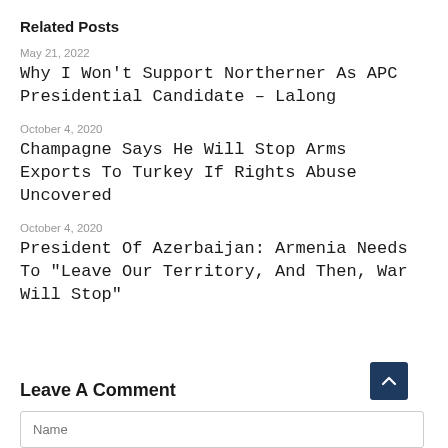Related Posts
May 21, 2022
Why I Won't Support Northerner As APC Presidential Candidate – Lalong
October 4, 2020
Champagne Says He Will Stop Arms Exports To Turkey If Rights Abuse Uncovered
October 4, 2020
President Of Azerbaijan: Armenia Needs To "Leave Our Territory, And Then, War Will Stop"
Leave A Comment
Name